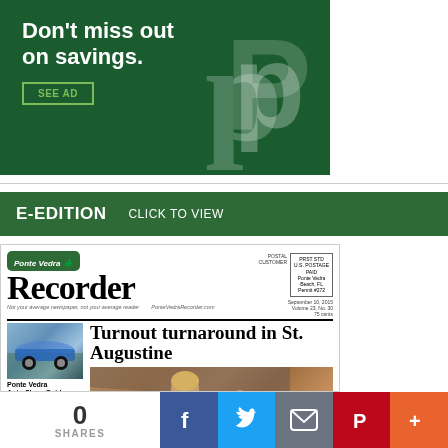[Figure (infographic): Green Publix advertisement banner: 'Don't miss out on savings.' with SEE AD button and Publix logo]
E-EDITION   CLICK TO VIEW
[Figure (screenshot): Thumbnail of Ponte Vedra Recorder newspaper front page featuring headline 'Turnout turnaround in St. Augustine', Ponte Vedra Auto Show Guide, and a photo of a woman singing]
0 SHARES
[Figure (infographic): Social media sharing bar with Facebook, Twitter, Email, Pinterest, and More buttons]